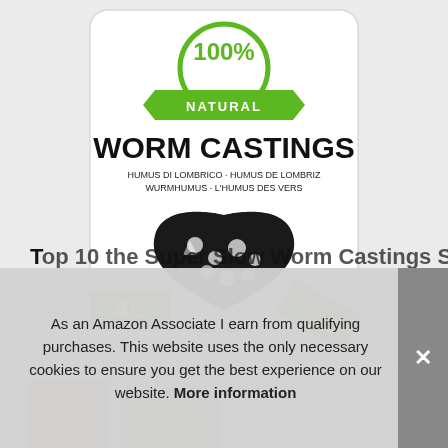[Figure (photo): A white bag of Baltic Worm '100% Natural Worm Castings' 4L product, with green badge showing '100% Natural', black bold text 'WORM CASTINGS', multiple languages (Humus di Lombrico, Humus de Lombriz, Wurmhumus, L'Humus des Vers), a black heart shape with vegetable illustrations, green '4L' label at bottom left, and 'Multi-Purpose' green diagonal banner at bottom right.]
T... (partial title text partially obscured)
As an Amazon Associate I earn from qualifying purchases. This website uses the only necessary cookies to ensure you get the best experience on our website. More information